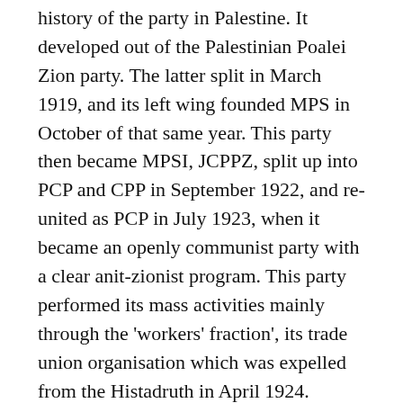history of the party in Palestine. It developed out of the Palestinian Poalei Zion party. The latter split in March 1919, and its left wing founded MPS in October of that same year. This party then became MPSI, JCPPZ, split up into PCP and CPP in September 1922, and re-united as PCP in July 1923, when it became an openly communist party with a clear anit-zionist program. This party performed its mass activities mainly through the 'workers' fraction', its trade union organisation which was expelled from the Histadruth in April 1924.
In his account of party history, Offenberg draws heavily on a wide sample of original party material and on interviews with numerous old party members. The use he makes of his sources is, however, not uncritical: For all important issues, party statements are confronted with contemporary realities. The study treats a variety